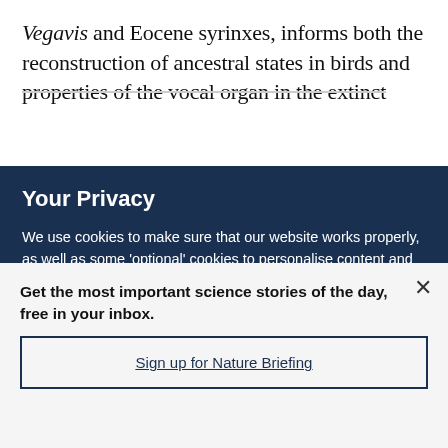Vegavis and Eocene syrinxes, informs both the reconstruction of ancestral states in birds and properties of the vocal organ in the extinct
Your Privacy
We use cookies to make sure that our website works properly, as well as some 'optional' cookies to personalise content and advertising, provide social media features and analyse how people use our site. By accepting some or all optional cookies you give consent to the processing of your personal data, including transfer to third parties, some in countries outside of the European Economic Area that do not offer the same data protection standards as the country where you live. You can decide which optional cookies to accept by clicking on 'Manage Settings', where you can
Get the most important science stories of the day, free in your inbox.
Sign up for Nature Briefing